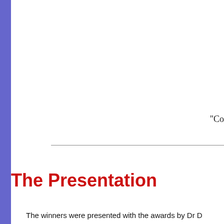"Co
The Presentation
The winners were presented with the awards by Dr D CWAS AstroFest dinner on July 14, 2012. The dignit Curator of Astronomy at Sydney Observatory; Dr Lis